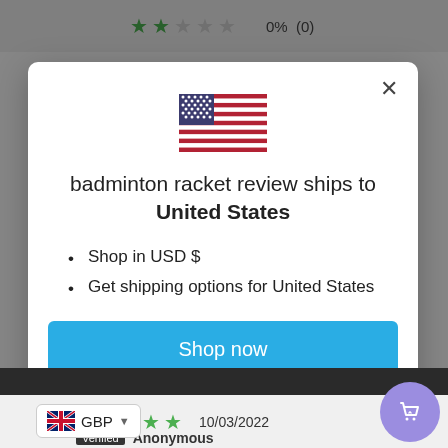[Figure (screenshot): Website modal popup showing US flag with shipping information for United States. Background shows e-commerce review page with star ratings.]
badminton racket review ships to United States
Shop in USD $
Get shipping options for United States
Shop now
Change shipping country
GBP